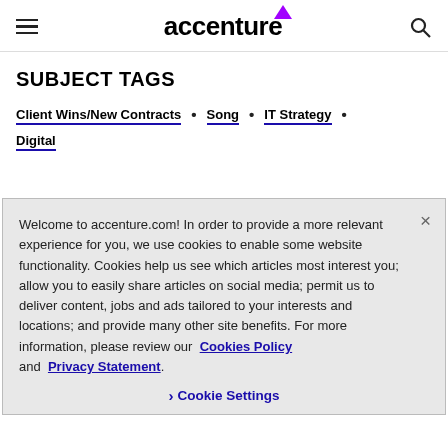accenture (logo with hamburger menu and search icon)
SUBJECT TAGS
Client Wins/New Contracts
Song
IT Strategy
Digital
Welcome to accenture.com! In order to provide a more relevant experience for you, we use cookies to enable some website functionality. Cookies help us see which articles most interest you; allow you to easily share articles on social media; permit us to deliver content, jobs and ads tailored to your interests and locations; and provide many other site benefits. For more information, please review our Cookies Policy and Privacy Statement.
Cookie Settings